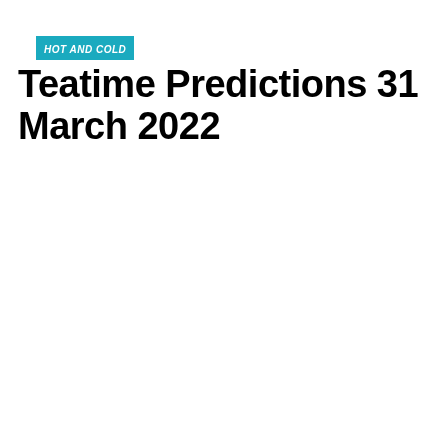HOT AND COLD
Teatime Predictions 31 March 2022